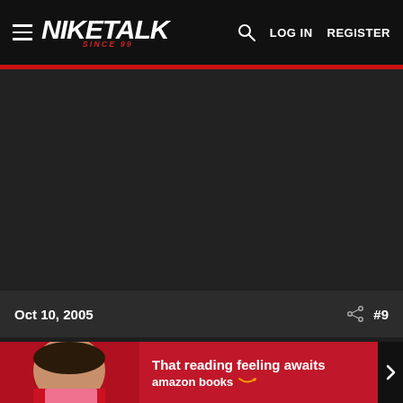NIKETALK SINCE 99 — LOG IN  REGISTER
Oct 10, 2005  #9
untouchable tical20
[Figure (screenshot): Dark area / blank content section of forum post]
[Figure (photo): Amazon Books advertisement banner: woman reading a book, text reads 'That reading feeling awaits' and 'amazon books']